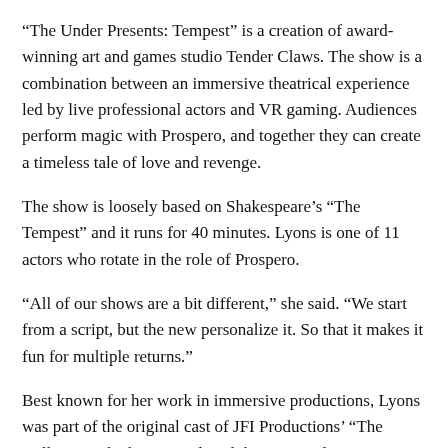“The Under Presents: Tempest” is a creation of award-winning art and games studio Tender Claws. The show is a combination between an immersive theatrical experience led by live professional actors and VR gaming. Audiences perform magic with Prospero, and together they can create a timeless tale of love and revenge.
The show is loosely based on Shakespeare’s “The Tempest” and it runs for 40 minutes. Lyons is one of 11 actors who rotate in the role of Prospero.
“All of our shows are a bit different,” she said. “We start from a script, but the new personalize it. So that it makes it fun for multiple returns.”
Best known for her work in immersive productions, Lyons was part of the original cast of JFI Productions’ “The Willows,” which was produced three times due to its popularity. She